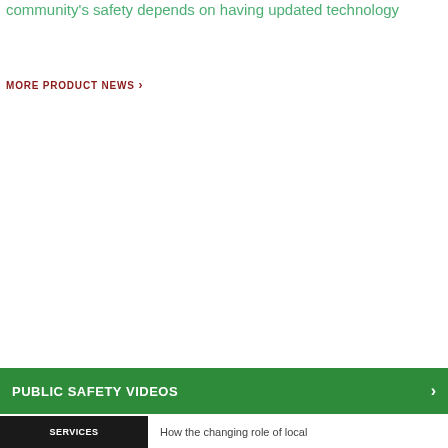community's safety depends on having updated technology
MORE PRODUCT NEWS ›
PUBLIC SAFETY VIDEOS ›
[Figure (photo): Dark background image with text 'Services' visible]
How the changing role of local